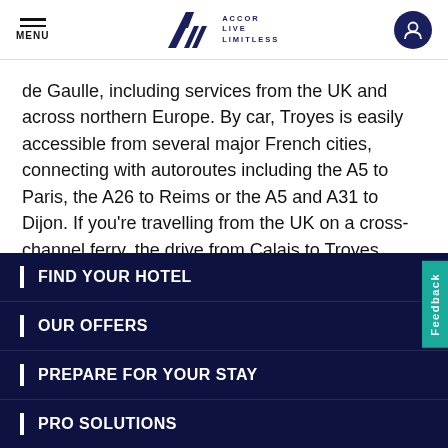MENU | ALL ACCOR LIVE LIMITLESS
de Gaulle, including services from the UK and across northern Europe. By car, Troyes is easily accessible from several major French cities, connecting with autoroutes including the A5 to Paris, the A26 to Reims or the A5 and A31 to Dijon. If you're travelling from the UK on a cross-channel ferry, the drive from Calais to Troyes takes around 4 hours via Reims.
FIND YOUR HOTEL
OUR OFFERS
PREPARE FOR YOUR STAY
PRO SOLUTIONS